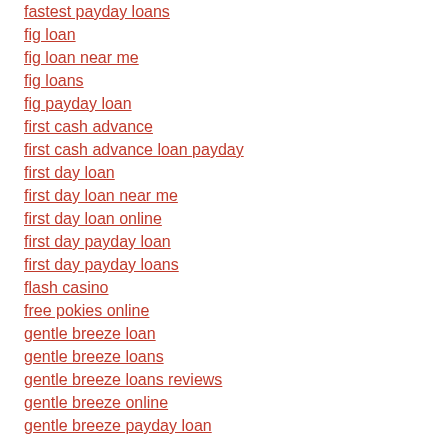fastest payday loans
fig loan
fig loan near me
fig loans
fig payday loan
first cash advance
first cash advance loan payday
first day loan
first day loan near me
first day loan online
first day payday loan
first day payday loans
flash casino
free pokies online
gentle breeze loan
gentle breeze loans
gentle breeze loans reviews
gentle breeze online
gentle breeze payday loan